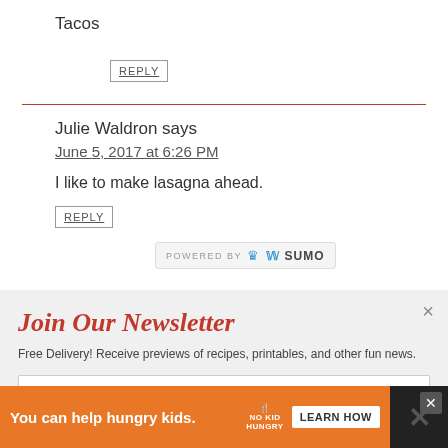Tacos
REPLY
Julie Waldron says
June 5, 2017 at 6:26 PM
I like to make lasagna ahead.
REPLY
[Figure (logo): POWERED BY SUMO badge with crown icon]
Join Our Newsletter
Free Delivery! Receive previews of recipes, printables, and other fun news.
Enter your email address
[Figure (infographic): You can help hungry kids. NO KID HUNGRY. LEARN HOW. Advertisement banner.]